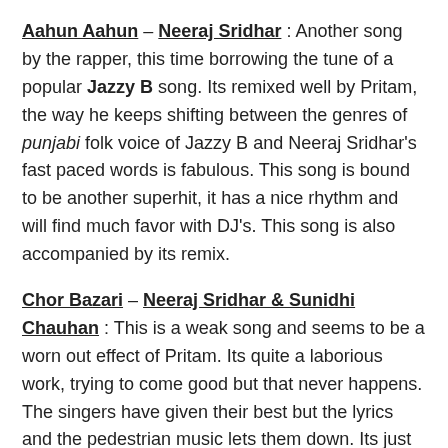Aahun Aahun – Neeraj Sridhar : Another song by the rapper, this time borrowing the tune of a popular Jazzy B song. Its remixed well by Pritam, the way he keeps shifting between the genres of punjabi folk voice of Jazzy B and Neeraj Sridhar's fast paced words is fabulous. This song is bound to be another superhit, it has a nice rhythm and will find much favor with DJ's. This song is also accompanied by its remix.
Chor Bazari – Neeraj Sridhar & Sunidhi Chauhan : This is a weak song and seems to be a worn out effect of Pritam. Its quite a laborious work, trying to come good but that never happens. The singers have given their best but the lyrics and the pedestrian music lets them down. Its just about passable. The song also has its remix version which I was not very convinced about.